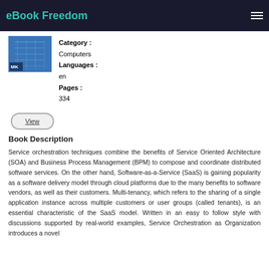eBook Freedom
[Figure (illustration): Book cover image with blue circuit board or technology design and 'MK' label]
Category : Computers
Languages : en
Pages : 334
View
Book Description
Service orchestration techniques combine the benefits of Service Oriented Architecture (SOA) and Business Process Management (BPM) to compose and coordinate distributed software services. On the other hand, Software-as-a-Service (SaaS) is gaining popularity as a software delivery model through cloud platforms due to the many benefits to software vendors, as well as their customers. Multi-tenancy, which refers to the sharing of a single application instance across multiple customers or user groups (called tenants), is an essential characteristic of the SaaS model. Written in an easy to follow style with discussions supported by real-world examples, Service Orchestration as Organization introduces a novel approach will provide a new framework and...